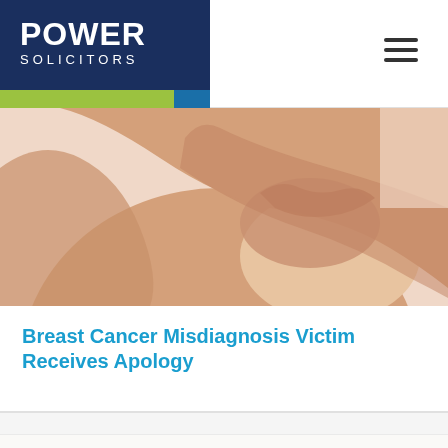POWER SOLICITORS
[Figure (photo): Close-up photo of a woman performing a breast self-examination, torso cropped, neutral pinkish-beige background.]
Breast Cancer Misdiagnosis Victim Receives Apology